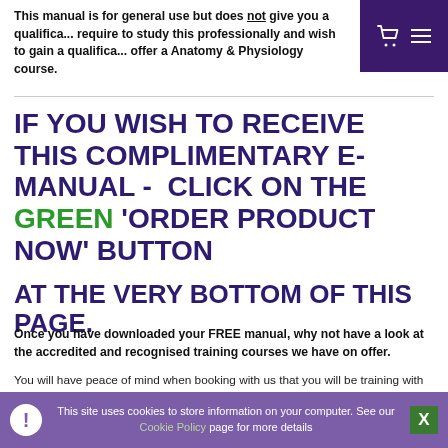This manual is for general use but does not give you a qualifica... require to study this professionally and wish to gain a qualifica... offer a Anatomy & Physiology course.
IF YOU WISH TO RECEIVE THIS COMPLIMENTARY E-MANUAL -  CLICK ON THE GREEN 'ORDER PRODUCT NOW' BUTTON
AT THE VERY BOTTOM OF THIS PAGE.
Once you have downloaded your FREE manual, why not have a look at the accredited and recognised training courses we have on offer.
You will have peace of mind when booking with us that you will be training with an award winning training school established in 1998, our courses are insurable and accredited by the professional bodies and when you book with us you will receive professional training of a very high standard.
This site uses cookies to store information on your computer. See our Cookie Policy page for more details